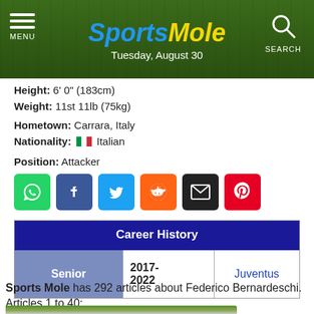Sports Mole — Tuesday, August 30
Height: 6' 0" (183cm)
Weight: 11st 11lb (75kg)
Hometown: Carrara, Italy
Nationality: Italian
Position: Attacker
[Figure (other): Social share buttons: WhatsApp, Facebook, Twitter, Reddit, Email, Pinterest]
| Career History |
| --- |
| Senior | 2017-2022 | Juventus |
Sports Mole has 292 articles about Federico Bernardeschi. Articles 1 to 40:
[Figure (photo): Photo of Federico Bernardeschi at bottom of page]